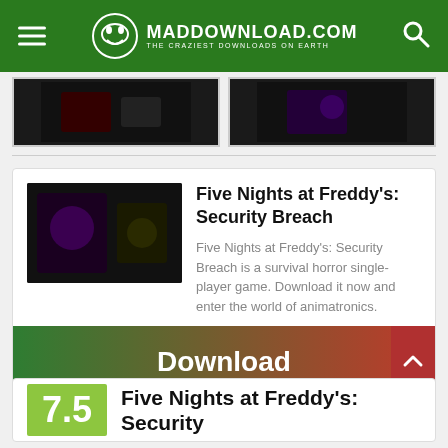MADDOWNLOAD.COM — THE CRAZIEST DOWNLOADS ON EARTH
[Figure (screenshot): Two dark game screenshot thumbnails at the top]
Five Nights at Freddy's: Security Breach
Five Nights at Freddy's: Security Breach is a survival horror single-player game. Download it now and enter the world of animatronics.
Download
Five Nights at Freddy's: Security
7.5